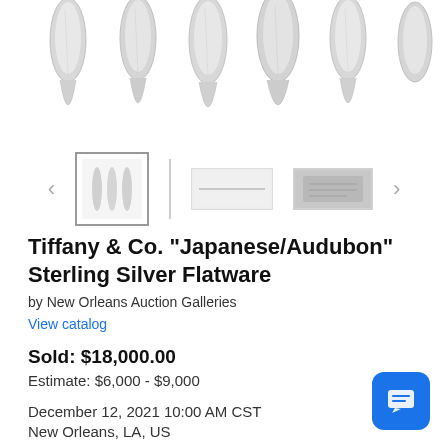[Figure (photo): Row of silver flatware handles (spoon/fork tops) shown from above, in silver/grey tones]
[Figure (screenshot): Thumbnail navigation row with left arrow, selected thumbnail showing flatware, vertical line divider, horizontal line image, grey rectangle image, and right arrow]
Tiffany & Co. "Japanese/Audubon" Sterling Silver Flatware
by New Orleans Auction Galleries
View catalog
Sold: $18,000.00
Estimate: $6,000 - $9,000
December 12, 2021 10:00 AM CST
New Orleans, LA, US
Request more information